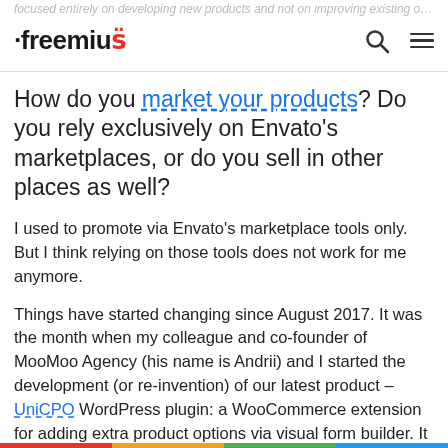Freemius — focused entirely on developing new products and not on improving existing ones.
How do you market your products? Do you rely exclusively on Envato's marketplaces, or do you sell in other places as well?
I used to promote via Envato's marketplace tools only. But I think relying on those tools does not work for me anymore.
Things have started changing since August 2017. It was the month when my colleague and co-founder of MooMoo Agency (his name is Andrii) and I started the development (or re-invention) of our latest product – UniCPO WordPress plugin: a WooCommerce extension for adding extra product options via visual form builder. It was not just starting programming another script, but it was also the birth of a new business direction for MooMoo studio.